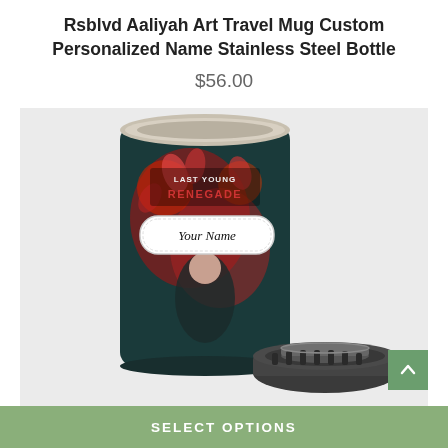Rsblvd Aaliyah Art Travel Mug Custom Personalized Name Stainless Steel Bottle
$56.00
[Figure (photo): Product photo of a stainless steel travel mug with colorful Aaliyah art design reading 'LAST YOUNG RENEGADE' and a name placeholder label saying 'Your Name', shown alongside a detached dark lid, on a light grey background.]
SELECT OPTIONS